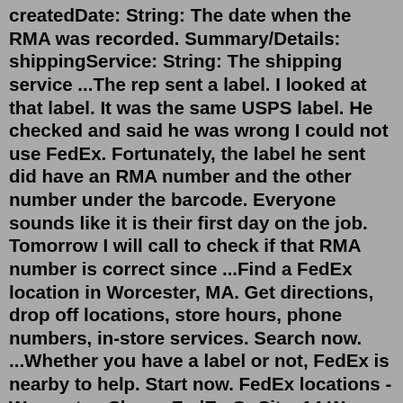createdDate: String: The date when the RMA was recorded. Summary/Details: shippingService: String: The shipping service ...The rep sent a label. I looked at that label. It was the same USPS label. He checked and said he was wrong I could not use FedEx. Fortunately, the label he sent did have an RMA number and the other number under the barcode. Everyone sounds like it is their first day on the job. Tomorrow I will call to check if that RMA number is correct since ...Find a FedEx location in Worcester, MA. Get directions, drop off locations, store hours, phone numbers, in-store services. Search now. ...Whether you have a label or not, FedEx is nearby to help. Start now. FedEx locations - Worcester. Shaws FedEx OnSite. 14 W Boylston St. Worcester, MA 01605. US. phone (800) 463-3339Absolutely! You can return most unused items within 60 days of receipt of merchandise for a full refund to your original payment method. However, after 60 days, you can only receive a refund as store credit for new items in the original manufacturer's packaging and with all